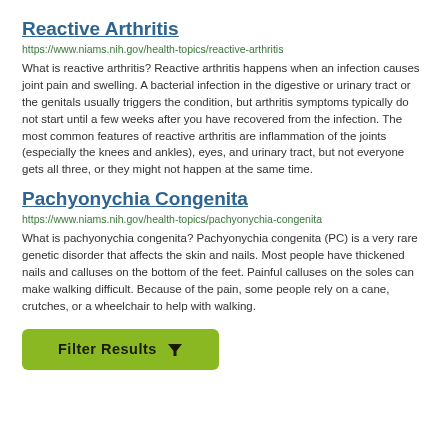Reactive Arthritis
https://www.niams.nih.gov/health-topics/reactive-arthritis
What is reactive arthritis? Reactive arthritis happens when an infection causes joint pain and swelling. A bacterial infection in the digestive or urinary tract or the genitals usually triggers the condition, but arthritis symptoms typically do not start until a few weeks after you have recovered from the infection. The most common features of reactive arthritis are inflammation of the joints (especially the knees and ankles), eyes, and urinary tract, but not everyone gets all three, or they might not happen at the same time.
Pachyonychia Congenita
https://www.niams.nih.gov/health-topics/pachyonychia-congenita
What is pachyonychia congenita? Pachyonychia congenita (PC) is a very rare genetic disorder that affects the skin and nails. Most people have thickened nails and calluses on the bottom of the feet. Painful calluses on the soles can make walking difficult. Because of the pain, some people rely on a cane, crutches, or a wheelchair to help with walking.
[Figure (other): Green button labeled 'Filter Results' with a funnel icon]